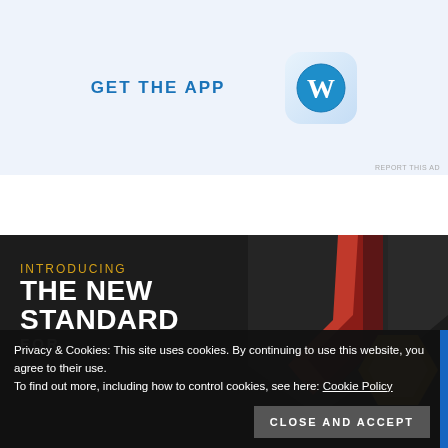[Figure (advertisement): GET THE APP banner with WordPress logo icon on light blue background]
REPORT THIS AD
[Figure (advertisement): Dark promo banner: INTRODUCING THE NEW STANDARD FOR... with hexagonal graphic in red and gold on dark background. inmotionhosting.com]
Privacy & Cookies: This site uses cookies. By continuing to use this website, you agree to their use.
To find out more, including how to control cookies, see here: Cookie Policy
CLOSE AND ACCEPT